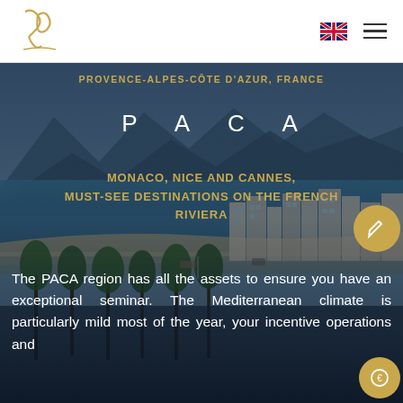[Figure (logo): Gold stylized YB or script logo in top-left header area]
[Figure (photo): Aerial/elevated panoramic photo of Nice, French Riviera coastline — beach, palm trees, city buildings, blue sea, mountains in background — with dark overlay tint]
PROVENCE-ALPES-CÔTE D'AZUR, FRANCE
P  A  C  A
MONACO, NICE AND CANNES, MUST-SEE DESTINATIONS ON THE FRENCH RIVIERA
The PACA region has all the assets to ensure you have an exceptional seminar. The Mediterranean climate is particularly mild most of the year, your incentive operations and